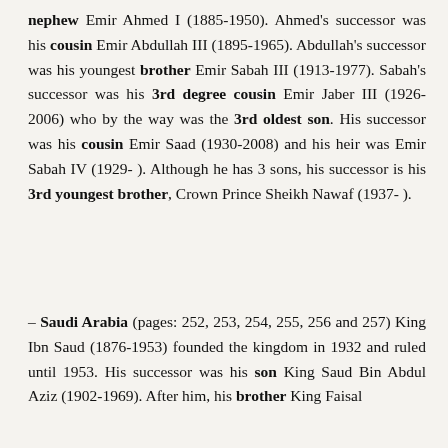nephew Emir Ahmed I (1885-1950). Ahmed's successor was his cousin Emir Abdullah III (1895-1965). Abdullah's successor was his youngest brother Emir Sabah III (1913-1977). Sabah's successor was his 3rd degree cousin Emir Jaber III (1926-2006) who by the way was the 3rd oldest son. His successor was his cousin Emir Saad (1930-2008) and his heir was Emir Sabah IV (1929- ). Although he has 3 sons, his successor is his 3rd youngest brother, Crown Prince Sheikh Nawaf (1937- ).
– Saudi Arabia (pages: 252, 253, 254, 255, 256 and 257) King Ibn Saud (1876-1953) founded the kingdom in 1932 and ruled until 1953. His successor was his son King Saud Bin Abdul Aziz (1902-1969). After him, his brother King Faisal